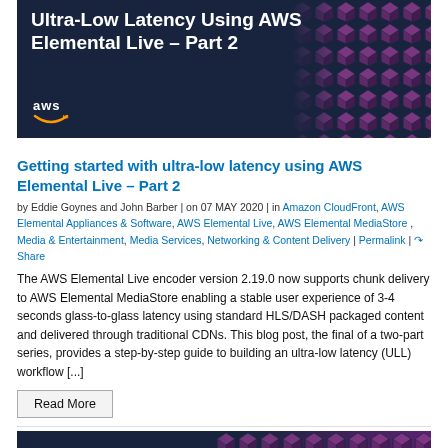[Figure (photo): AWS blog article header image with dark navy background, purple geometric cube pattern on right side, white bold title text 'Ultra-Low Latency Using AWS Elemental Live – Part 2', and AWS logo at bottom left]
Getting started with ultra-low latency using AWS Elemental Live – Part 2
by Eddie Goynes and John Barber | on 07 MAY 2020 | in Amazon CloudFront, AWS Elemental Appliances & Software, AWS Elemental Live, AWS Elemental MediaStore , Media & Entertainment, Media Services, Networking & Content Delivery | Permalink | Share
The AWS Elemental Live encoder version 2.19.0 now supports chunk delivery to AWS Elemental MediaStore enabling a stable user experience of 3-4 seconds glass-to-glass latency using standard HLS/DASH packaged content and delivered through traditional CDNs. This blog post, the final of a two-part series, provides a step-by-step guide to building an ultra-low latency (ULL) workflow [...]
Read More
[Figure (photo): Bottom of next article thumbnail with dark navy and purple gradient background]